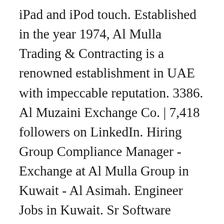iPad and iPod touch. Established in the year 1974, Al Mulla Trading & Contracting is a renowned establishment in UAE with impeccable reputation. 3386. Al Muzaini Exchange Co. | 7,418 followers on LinkedIn. Hiring Group Compliance Manager - Exchange at Al Mulla Group in Kuwait - Al Asimah. Engineer Jobs in Kuwait. Sr Software Engineer at Al Mulla Exchange West Godavari, Andhra Pradesh, India 89 connections. View Abhijith vj's profile on LinkedIn, the world's largest professional community. 1 Kuwait Jobs.com. 11. Login screen appears upon successful login. Disclaimer - Live Exchange Rates may differ from Last Updated, Please confirm the exact